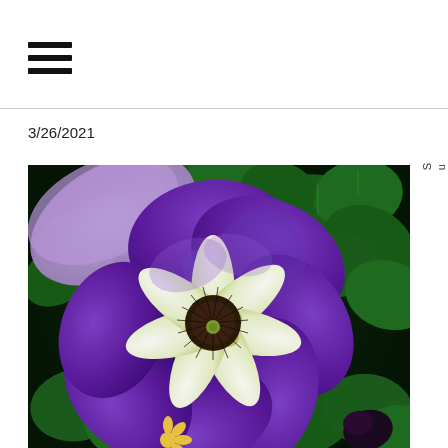☰ (hamburger menu icon)
3/26/2021
[Figure (photo): Close-up photo of a deep purple petunia flower with a white star-shaped center and yellow-green stamens, surrounded by green clover leaves in the background.]
Susanat Soul Blog s